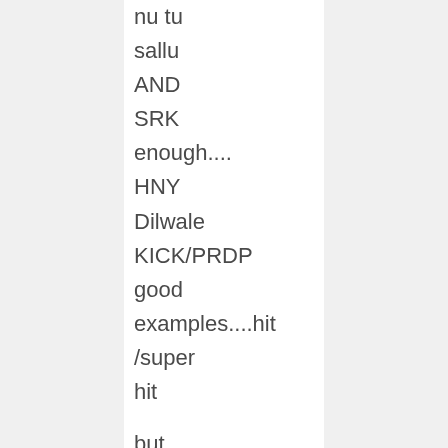nu tu sallu AND SRK enough.... HNY Dilwale KICK/PRDP good examples....hit /super hit

but same not the case with